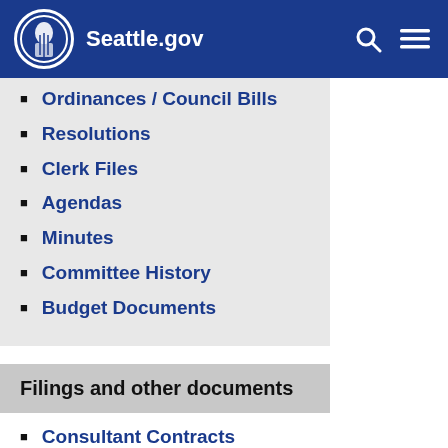Seattle.gov
Ordinances / Council Bills
Resolutions
Clerk Files
Agendas
Minutes
Committee History
Budget Documents
Filings and other documents
Consultant Contracts
Hearing Examiner Decisions
Business Tax Rules
Seattle Ethics and Elections Commission Rules
Public Corporation Reference